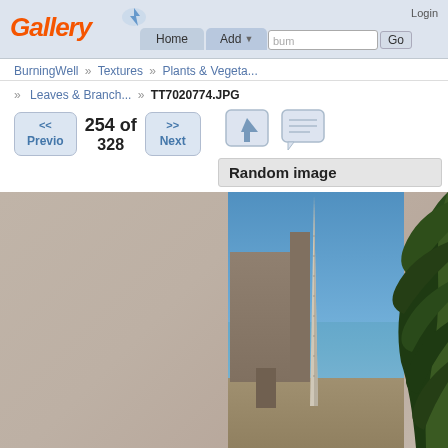Gallery — Login | Home | Add | Search album | Go
BurningWell » Textures » Plants & Vegeta...
» Leaves & Branch... » TT7020774.JPG
<< Previous  254 of 328  Next >>
Random image
[Figure (photo): Screenshot of a Gallery web application showing an image page for TT7020774.JPG. The main content area shows a beige/tan textured background on the left with an overlapping photo of an Egyptian obelisk (tall stone pillar) against a blue sky with ancient temple ruins, and plant foliage on the right side.]